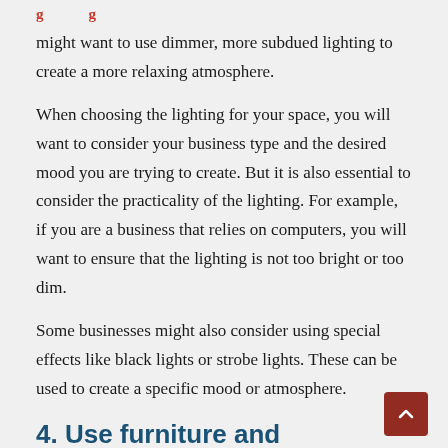might want to use dimmer, more subdued lighting to create a more relaxing atmosphere.
When choosing the lighting for your space, you will want to consider your business type and the desired mood you are trying to create. But it is also essential to consider the practicality of the lighting. For example, if you are a business that relies on computers, you will want to ensure that the lighting is not too bright or too dim.
Some businesses might also consider using special effects like black lights or strobe lights. These can be used to create a specific mood or atmosphere.
4. Use furniture and decorations wisely.